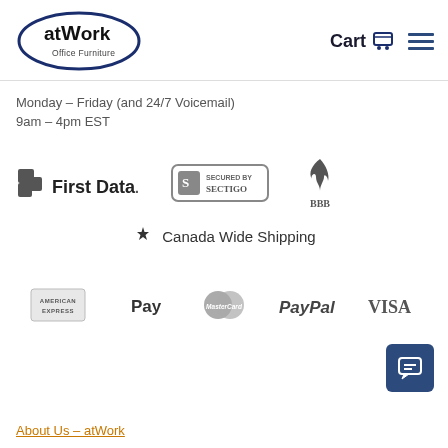[Figure (logo): atWork Office Furniture logo - oval shape with dark blue border, bold text 'atWork' and 'Office Furniture' below]
Cart 🛒
[Figure (other): Hamburger menu icon - three horizontal dark blue lines]
Monday – Friday (and 24/7 Voicemail)
9am – 4pm EST
[Figure (logo): First Data logo - grayscale]
[Figure (logo): Secured by Sectigo badge - rounded rectangle with S shield icon]
[Figure (logo): BBB (Better Business Bureau) logo - flame icon above BBB text, grayscale]
[Figure (other): Canadian maple leaf icon followed by text 'Canada Wide Shipping']
[Figure (logo): American Express logo - grayscale badge style]
[Figure (logo): Apple Pay logo - apple icon with Pay text]
[Figure (logo): MasterCard logo - two overlapping circles, grayscale]
[Figure (logo): PayPal logo - grayscale italic text]
[Figure (logo): VISA logo - grayscale bold text]
[Figure (other): Chat button - dark blue rounded square with chat/message icon]
About Us – atWork